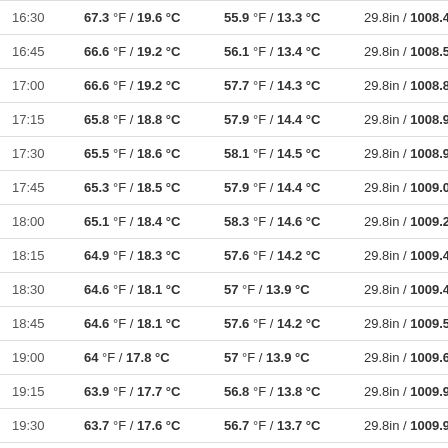| Time | Temperature | Dew Point | Pressure | Wind |
| --- | --- | --- | --- | --- |
| 16:30 | 67.3 °F / 19.6 °C | 55.9 °F / 13.3 °C | 29.8in / 1008.4hPa | SSW |
| 16:45 | 66.6 °F / 19.2 °C | 56.1 °F / 13.4 °C | 29.8in / 1008.5hPa | Sou |
| 17:00 | 66.6 °F / 19.2 °C | 57.7 °F / 14.3 °C | 29.8in / 1008.8hPa | SSW |
| 17:15 | 65.8 °F / 18.8 °C | 57.9 °F / 14.4 °C | 29.8in / 1008.9hPa | SSW |
| 17:30 | 65.5 °F / 18.6 °C | 58.1 °F / 14.5 °C | 29.8in / 1008.9hPa | Cal |
| 17:45 | 65.3 °F / 18.5 °C | 57.9 °F / 14.4 °C | 29.8in / 1009.0hPa | SE |
| 18:00 | 65.1 °F / 18.4 °C | 58.3 °F / 14.6 °C | 29.8in / 1009.2hPa | SE |
| 18:15 | 64.9 °F / 18.3 °C | 57.6 °F / 14.2 °C | 29.8in / 1009.4hPa | ESE |
| 18:30 | 64.6 °F / 18.1 °C | 57 °F / 13.9 °C | 29.8in / 1009.4hPa | ESE |
| 18:45 | 64.6 °F / 18.1 °C | 57.6 °F / 14.2 °C | 29.8in / 1009.5hPa | ESE |
| 19:00 | 64 °F / 17.8 °C | 57 °F / 13.9 °C | 29.8in / 1009.6hPa | ESE |
| 19:15 | 63.9 °F / 17.7 °C | 56.8 °F / 13.8 °C | 29.8in / 1009.9hPa | ESE |
| 19:30 | 63.7 °F / 17.6 °C | 56.7 °F / 13.7 °C | 29.8in / 1009.9hPa | Cal |